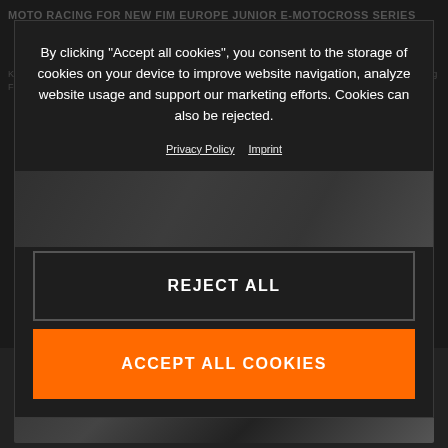MOTO RACING FOR NEW FIM EUROPE JUNIOR E-MOTOCROSS SERIES
KTM is pleased to announce a new partnership with Infront Moto Racing, FIM Europe and European Racing Federation over the next...
By clicking "Accept all cookies", you consent to the storage of cookies on your device to improve website navigation, analyze website usage and support our marketing efforts. Cookies can also be rejected.
Privacy Policy  Imprint
REJECT ALL
ACCEPT ALL COOKIES